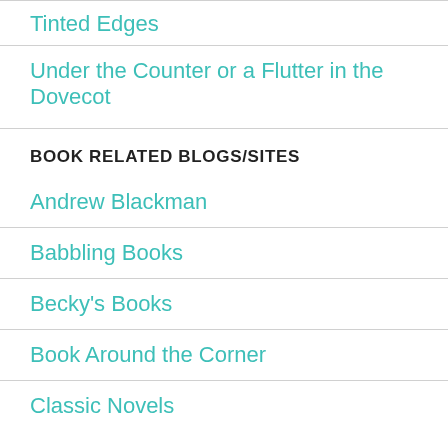Tinted Edges
Under the Counter or a Flutter in the Dovecot
BOOK RELATED BLOGS/SITES
Andrew Blackman
Babbling Books
Becky's Books
Book Around the Corner
Classic Novels